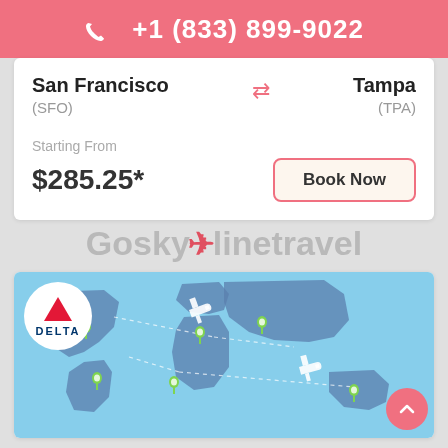+1 (833) 899-9022
San Francisco (SFO) ⇄ Tampa (TPA)
Starting From
$285.25*
Book Now
[Figure (logo): Delta Airlines logo with red triangle and DELTA text]
[Figure (map): World map with light blue background, dark blue continents, green location pins across multiple continents, and two white airplane icons flying with dotted routes. Goskylinetravel watermark overlaid.]